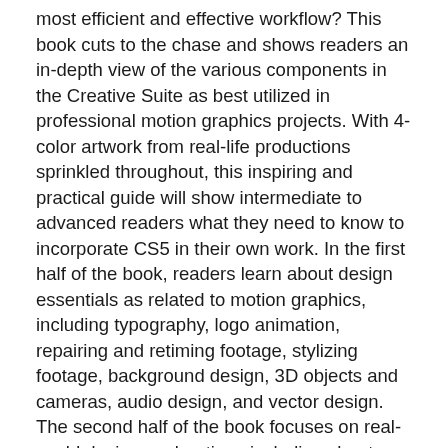most efficient and effective workflow? This book cuts to the chase and shows readers an in-depth view of the various components in the Creative Suite as best utilized in professional motion graphics projects. With 4-color artwork from real-life productions sprinkled throughout, this inspiring and practical guide will show intermediate to advanced readers what they need to know to incorporate CS5 in their own work. In the first half of the book, readers learn about design essentials as related to motion graphics, including typography, logo animation, repairing and retiming footage, stylizing footage, background design, 3D objects and cameras, audio design, and vector design. The second half of the book focuses on real-world design explorations including chapters on broadcast package design, title sequences, DVD menu design, motion control 3D, character animation techniques, and panoramic images.The accompanying DVD brings it all together